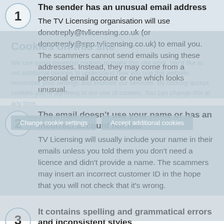1. The sender has an unusual email address. The TV Licensing organisation will use donotreply@tvlicensing.co.uk (or donotreply@spp.tvlicensing.co.uk) to email you. The scammers cannot send emails using these addresses. Instead, they may come from a personal email account or one which looks unusual.
2. The email doesn't use your name or has an incorrect account number. TV Licensing will usually include your name in their emails unless you told them you don't need a licence and didn't provide a name. The scammers may insert an incorrect customer ID in the hope that you will not check that it's wrong.
3. It contains spelling and grammatical errors and inconsistent styles. Although all writers can make mistakes, it's